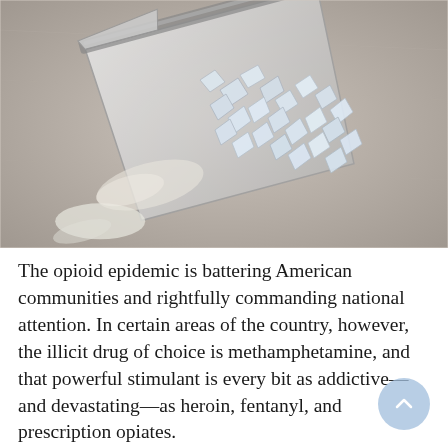[Figure (photo): Black and white photograph of a small plastic ziplock bag containing crystal methamphetamine, lying open on a light surface with some crystals spilled out.]
The opioid epidemic is battering American communities and rightfully commanding national attention. In certain areas of the country, however, the illicit drug of choice is methamphetamine, and that powerful stimulant is every bit as addictive—and devastating—as heroin, fentanyl, and prescription opiates.